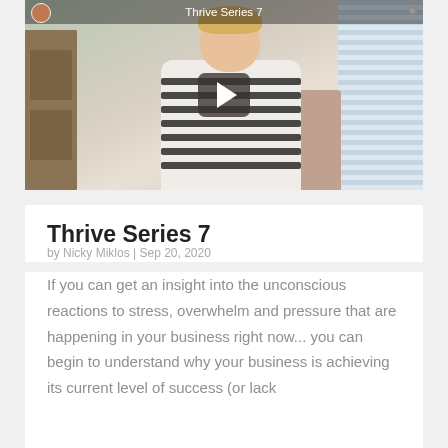[Figure (screenshot): Video thumbnail showing a woman in a striped shirt sitting in a room. A play button is centered over the image. The video is titled 'Thrive Series 7'.]
Thrive Series 7
by Nicky Miklos | Sep 20, 2020
If you can get an insight into the unconscious reactions to stress, overwhelm and pressure that are happening in your business right now... you can begin to understand why your business is achieving its current level of success (or lack